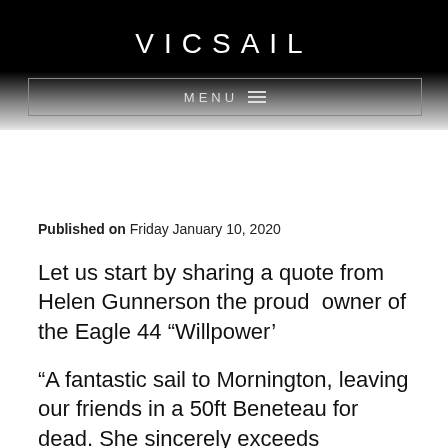VICSAIL
MENU
Published on Friday January 10, 2020
Let us start by sharing a quote from Helen Gunnerson the proud owner of the Eagle 44 “Willpower’
“A fantastic sail to Mornington, leaving our friends in a 50ft Beneteau for dead. She sincerely exceeds expectations. A very beautiful yacht with high quality built. Boy, she is turning heads! And Vicsail